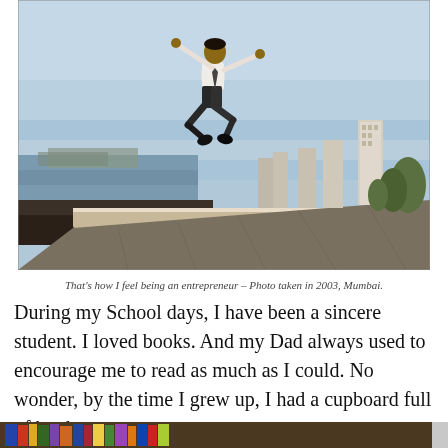[Figure (photo): A man in a white shirt and dark pants leaping energetically into the air along a seaside promenade in Mumbai, with the ocean to the left and high-rise buildings in the background. Sky is clear blue.]
That's how I feel being an entrepreneur – Photo taken in 2003, Mumbai.
During my School days, I have been a sincere student. I loved books. And my Dad always used to encourage me to read as much as I could. No wonder, by the time I grew up, I had a cupboard full of books.
[Figure (photo): Bottom portion of a photo showing books on a shelf, partially visible at the bottom of the page.]